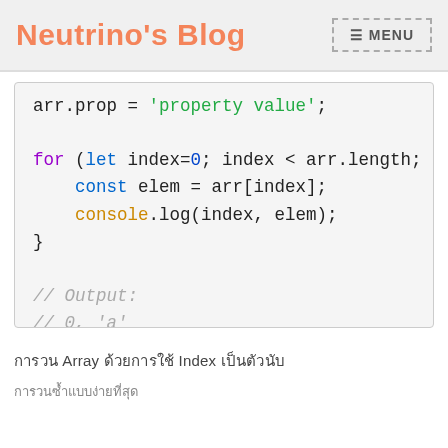Neutrino's Blog  MENU
[Figure (screenshot): Code block showing JavaScript: arr.prop = 'property value'; followed by a for loop using let index=0; index < arr.length; with const elem = arr[index]; and console.log(index, elem); and closing brace. Below that a comment block: // Output: // 0, 'a' // 1, 'b' // 2, 'c']
การวน Array ด้วยการใช้ Index เป็นตัวนับ
การวนซ้ำแบบง่ายที่สุด